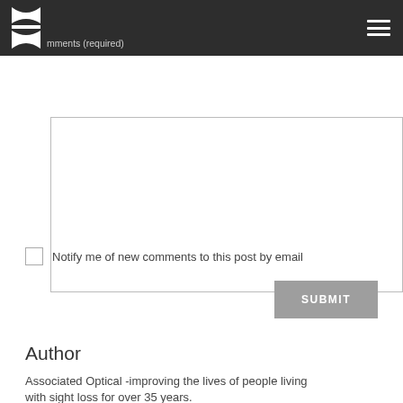Comments (required)
[Figure (screenshot): Textarea input box for comments, with a checkbox for email notification of new comments, a Submit button, an Author section header, and text about Associated Optical.]
Notify me of new comments to this post by email
SUBMIT
Author
Associated Optical -improving the lives of people living with sight loss for over 35 years.